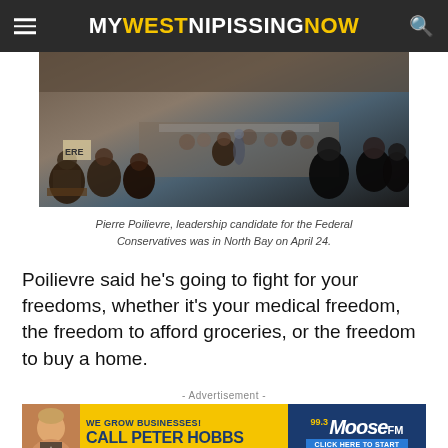MY WEST NIPISSING NOW
[Figure (photo): Crowd of people seated at an indoor event, viewed from behind, with a stage and speaker area visible at the front. A sign partially visible on the left reads 'ERE'.]
Pierre Poilievre, leadership candidate for the Federal Conservatives was in North Bay on April 24.
Poilievre said he's going to fight for your freedoms, whether it's your medical freedom, the freedom to afford groceries, or the freedom to buy a home.
- Advertisement -
[Figure (other): Advertisement banner for Moose FM 99.3 featuring Peter Hobbs. Yellow and dark blue background. Text reads: WE GROW BUSINESSES! CALL PETER HOBBS 249-358-0058. Button: CLICK HERE TO START. Logo: 99.3 Moose FM MYWESTNIPISSSINGNOW.com]